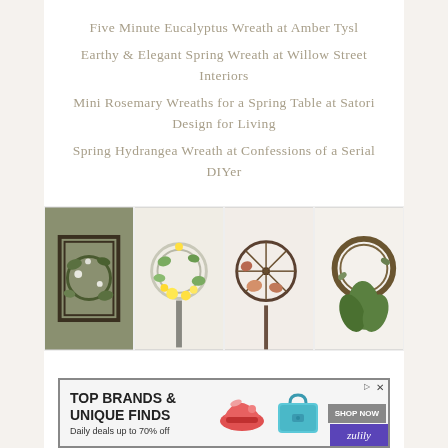Five Minute Eucalyptus Wreath at Amber Tysl
Earthy & Elegant Spring Wreath at Willow Street Interiors
Mini Rosemary Wreaths for a Spring Table at Satori Design for Living
Spring Hydrangea Wreath at Confessions of a Serial DIYer
[Figure (photo): Four wreath photos side by side: geometric wire wreath with greenery, yellow flower wreath on stand, bicycle wheel wreath, and circular branch wreath with ferns]
[Figure (other): Advertisement banner: TOP BRANDS & UNIQUE FINDS - Daily deals up to 70% off - SHOP NOW - Zulily]